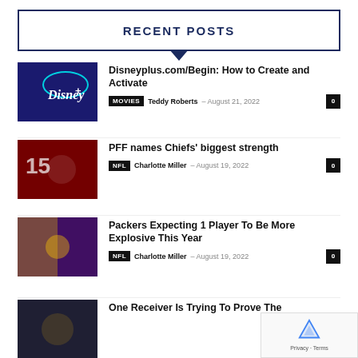RECENT POSTS
Disneyplus.com/Begin: How to Create and Activate | MOVIES | Teddy Roberts - August 21, 2022 | 0
PFF names Chiefs' biggest strength | NFL | Charlotte Miller - August 19, 2022 | 0
Packers Expecting 1 Player To Be More Explosive This Year | NFL | Charlotte Miller - August 19, 2022 | 0
One Receiver Is Trying To Prove The